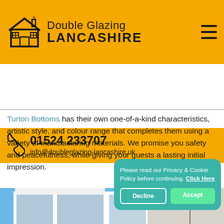Double Glazing LANCASHIRE
01524 233707
info@doubleglazing-lancashire.uk
Turton Bottoms has their own one-of-a-kind characteristics, artistic style, and colour range that completes them using a variety of manufacturing materials. We promise you safety and peacefulness, while giving your guests a lasting initial impression.
[Figure (photo): Interior room with white sliding glass doors/windows showing a balcony with outdoor seating and a tree-covered hillside beyond; pendant light and framed picture on wall inside.]
Please read our Privacy & Cookie Policy before continuing. Click Here
Decline  Accept